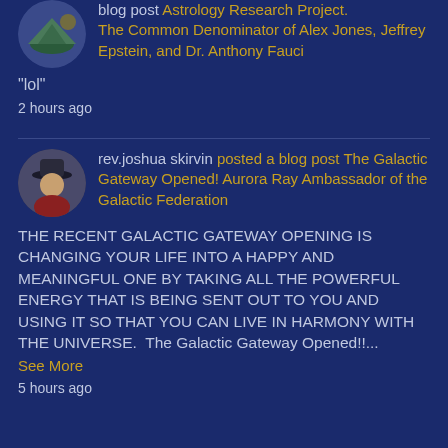blog post Astrology Research Project. The Common Denominator of Alex Jones, Jeffrey Epstein, and Dr. Anthony Fauci
"lol"
2 hours ago
rev.joshua skirvin posted a blog post The Galactic Gateway Opened! Aurora Ray Ambassador of the Galactic Federation
THE RECENT GALACTIC GATEWAY OPENING IS CHANGING YOUR LIFE INTO A HAPPY AND MEANINGFUL ONE BY TAKING ALL THE POWERFUL ENERGY THAT IS BEING SENT OUT TO YOU AND USING IT SO THAT YOU CAN LIVE IN HARMONY WITH THE UNIVERSE.  The Galactic Gateway Opened!!...
See More
5 hours ago